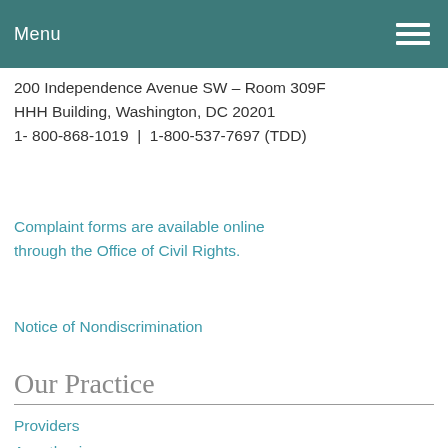Menu
200 Independence Avenue SW – Room 309F HHH Building, Washington, DC 20201 1- 800-868-1019  |  1-800-537-7697 (TDD)
Complaint forms are available online through the Office of Civil Rights.
Notice of Nondiscrimination
Our Practice
Providers
Anesthesia
Connect